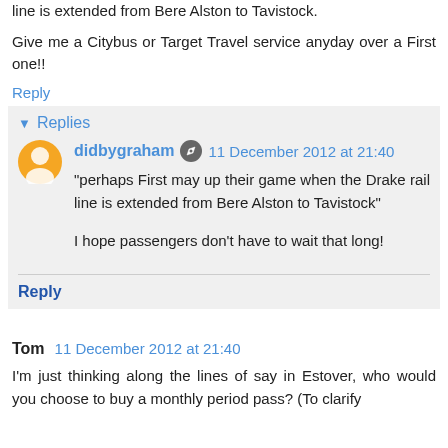line is extended from Bere Alston to Tavistock.
Give me a Citybus or Target Travel service anyday over a First one!!
Reply
Replies
didbygraham  11 December 2012 at 21:40
"perhaps First may up their game when the Drake rail line is extended from Bere Alston to Tavistock"
I hope passengers don't have to wait that long!
Reply
Tom  11 December 2012 at 21:40
I'm just thinking along the lines of say in Estover, who would you choose to buy a monthly period pass? (To clarify